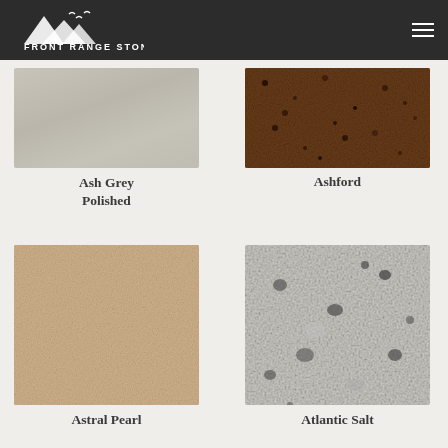Front Range Stone Countertops
[Figure (photo): Ash Grey Polished stone countertop sample - light grey/taupe smooth surface]
Ash Grey Polished
[Figure (photo): Ashford stone countertop sample - dark brown speckled granite texture]
Ashford
[Figure (photo): Astral Pearl stone countertop sample - sandy beige granular texture]
Astral Pearl
[Figure (photo): Atlantic Salt stone countertop sample - white/grey granite with dark spots]
Atlantic Salt